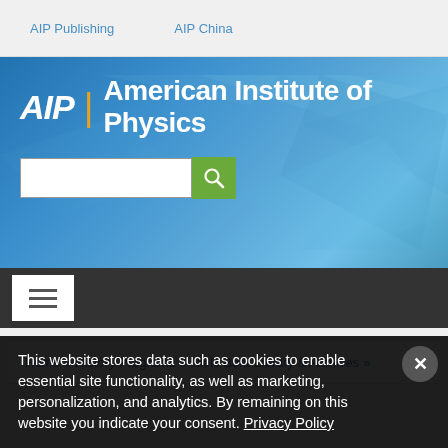AIP Publishing   AIP China
[Figure (logo): AIP | American Institute of Physics banner with blue geometric polygon background and search bar]
[Figure (screenshot): Dark navigation bar with white hamburger menu button]
Home » History Programs » Niels Bohr Library & Archives »
This website stores data such as cookies to enable essential site functionality, as well as marketing, personalization, and analytics. By remaining on this website you indicate your consent. Privacy Policy